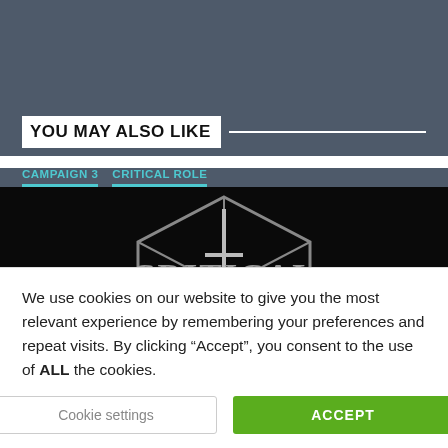YOU MAY ALSO LIKE
[Figure (screenshot): Critical Role logo on black background with geometric D20 die outline. Two tabs visible: CAMPAIGN 3 and CRITICAL ROLE in cyan text.]
We use cookies on our website to give you the most relevant experience by remembering your preferences and repeat visits. By clicking “Accept”, you consent to the use of ALL the cookies.
Cookie settings   ACCEPT